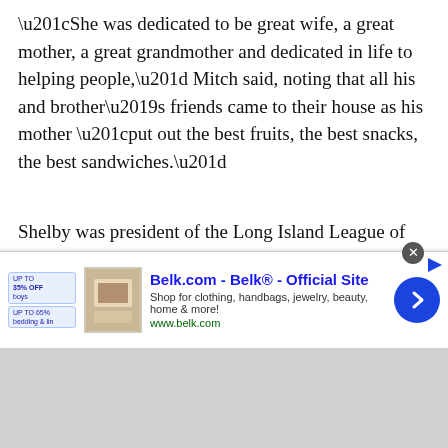“She was dedicated to be great wife, a great mother, a great grandmother and dedicated in life to helping people,” Mitch said, noting that all his and brother’s friends came to their house as his mother “put out the best fruits, the best snacks, the best sandwiches.”
Shelby was president of the Long Island League of the Metropolitan Geriatric Center; chairwoman of the Five Towns Development Fund for Lincoln Center and was a founding patron of the Metropolitan Opera. She was also a founding member of the Seawane Club.
“She was the most amazing person you’d ever want
[Figure (screenshot): Advertisement banner for Belk.com - Belk Official Site. Shows badges for discounts, a product image, ad title, description text 'Shop for clothing, handbags, jewelry, beauty, home & more!' and URL www.belk.com, with a blue circular next arrow button.]